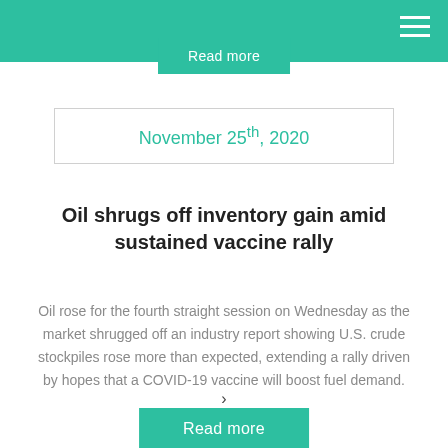Read more
November 25th, 2020
Oil shrugs off inventory gain amid sustained vaccine rally
Oil rose for the fourth straight session on Wednesday as the market shrugged off an industry report showing U.S. crude stockpiles rose more than expected, extending a rally driven by hopes that a COVID-19 vaccine will boost fuel demand.
Read more